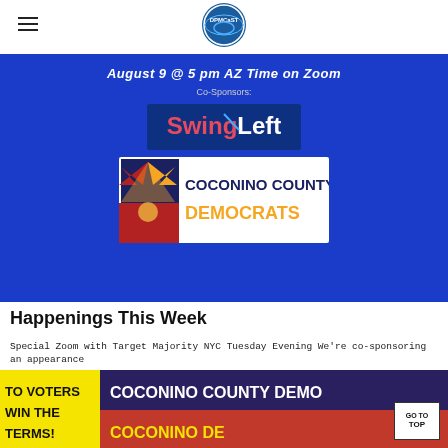DPMCaST logo and hamburger menu
[Figure (screenshot): Blue banner with text 'August 9 @ 5 pm AZ Time on Zoom', 'Co-Sponsors:', SwingLeft logo, and Coconino County Democrats logo]
Happenings This Week
Special Zoom with Target Majority NYC Tuesday Evening We're co-sponsoring an appearance
[Figure (screenshot): Coconino County Democrats banner with yellow text 'TO VOTERS WIN THE TERMS!' and red background with text 'COCONINO COUNTY DEMO' and 'COCONINO DE']